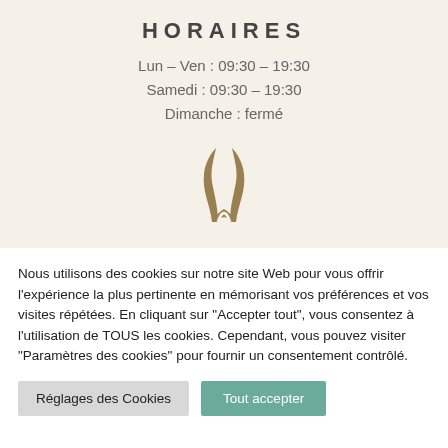HORAIRES
Lun – Ven : 09:30 – 19:30
Samedi : 09:30 – 19:30
Dimanche : fermé
[Figure (logo): Gold/brown stylized antelope or gazelle horns logo mark]
Nous utilisons des cookies sur notre site Web pour vous offrir l'expérience la plus pertinente en mémorisant vos préférences et vos visites répétées. En cliquant sur "Accepter tout", vous consentez à l'utilisation de TOUS les cookies. Cependant, vous pouvez visiter "Paramètres des cookies" pour fournir un consentement contrôlé.
Réglages des Cookies | Tout accepter